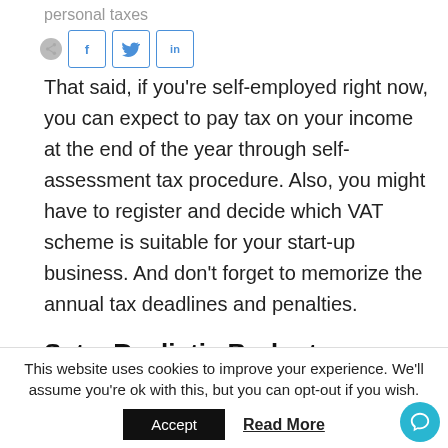personal taxes
That said, if you're self-employed right now, you can expect to pay tax on your income at the end of the year through self-assessment tax procedure. Also, you might have to register and decide which VAT scheme is suitable for your start-up business. And don't forget to memorize the annual tax deadlines and penalties.
Set a Realistic Budget
This website uses cookies to improve your experience. We'll assume you're ok with this, but you can opt-out if you wish.